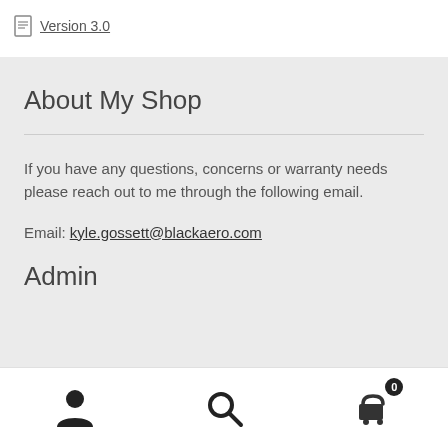Version 3.0
About My Shop
If you have any questions, concerns or warranty needs please reach out to me through the following email.
Email: kyle.gossett@blackaero.com
Admin
Navigation bar with user icon, search icon, and cart icon (badge: 0)